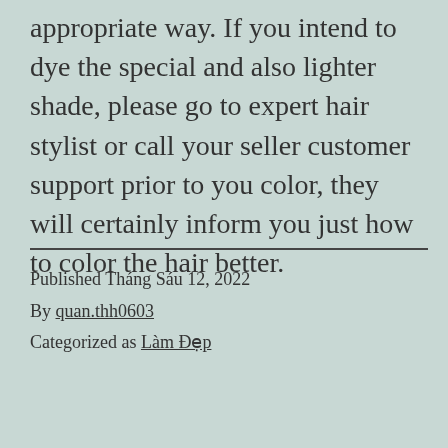appropriate way. If you intend to dye the special and also lighter shade, please go to expert hair stylist or call your seller customer support prior to you color, they will certainly inform you just how to color the hair better.
Published Tháng Sáu 12, 2022
By quan.thh0603
Categorized as Làm Đẹp